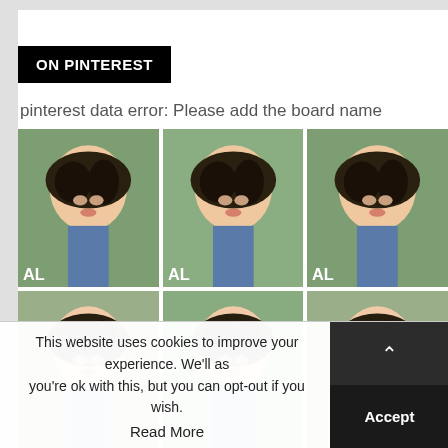ON PINTEREST
pinterest data error: Please add the board name
[Figure (photo): Grid of 6 repeated photos showing a young woman with dark hair in a blue outfit, each with 'AL' watermark in lower left corner]
This website uses cookies to improve your experience. We'll as you're ok with this, but you can opt-out if you wish. Accept Read More